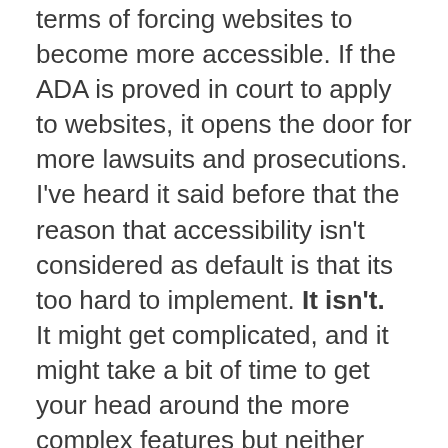terms of forcing websites to become more accessible. If the ADA is proved in court to apply to websites, it opens the door for more lawsuits and prosecutions.
I've heard it said before that the reason that accessibility isn't considered as default is that its too hard to implement. It isn't.
It might get complicated, and it might take a bit of time to get your head around the more complex features but neither Dominos or Beyonce are being brought up because they have got a more complicated bit of accessibility wrong. They haven't even included the basics!
At the end of the day, accessible digital services are for everyone. Not just a small